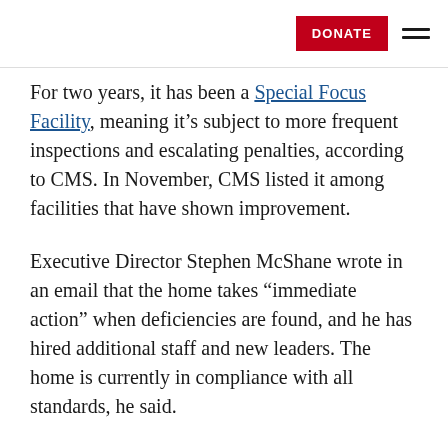DONATE [navigation menu]
For two years, it has been a Special Focus Facility, meaning it's subject to more frequent inspections and escalating penalties, according to CMS. In November, CMS listed it among facilities that have shown improvement.
Executive Director Stephen McShane wrote in an email that the home takes “immediate action” when deficiencies are found, and he has hired additional staff and new leaders. The home is currently in compliance with all standards, he said.